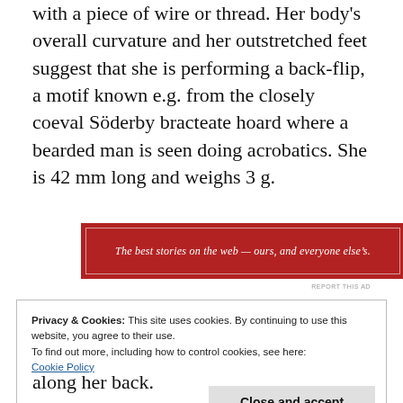with a piece of wire or thread. Her body's overall curvature and her outstretched feet suggest that she is performing a back-flip, a motif known e.g. from the closely coeval Söderby bracteate hoard where a bearded man is seen doing acrobatics. She is 42 mm long and weighs 3 g.
[Figure (other): Advertisement banner with dark red background reading: The best stories on the web — ours, and everyone else's.]
Privacy & Cookies: This site uses cookies. By continuing to use this website, you agree to their use.
To find out more, including how to control cookies, see here: Cookie Policy
Close and accept
along her back.